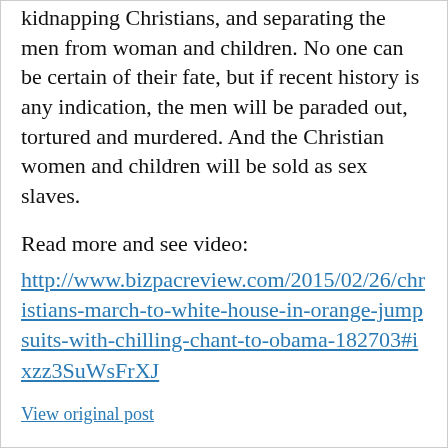kidnapping Christians, and separating the men from woman and children. No one can be certain of their fate, but if recent history is any indication, the men will be paraded out, tortured and murdered. And the Christian women and children will be sold as sex slaves.
Read more and see video: http://www.bizpacreview.com/2015/02/26/christians-march-to-white-house-in-orange-jumpsuits-with-chilling-chant-to-obama-182703#ixzz3SuWsFrXJ
View original post